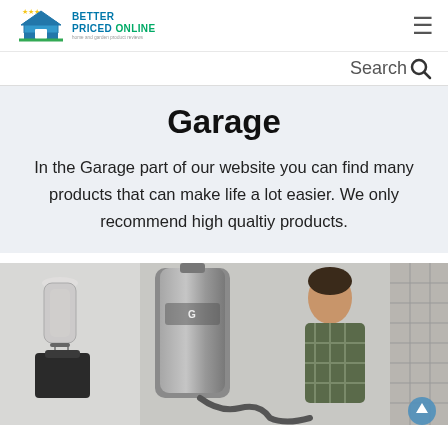Better Priced Online — home and garden product reviews
Search
Garage
In the Garage part of our website you can find many products that can make life a lot easier. We only recommend high qualtiy products.
[Figure (photo): A man working with a large central vacuum or industrial equipment in a garage setting, with accessories visible on the left and a grid storage panel on the right.]